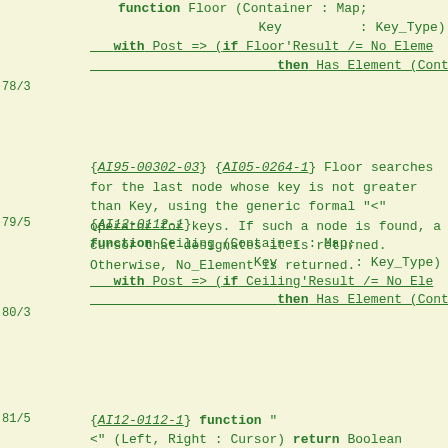function Floor (Container : Map;
                    Key          : Key_Type) return
   with Post => (if Floor'Result /= No_Elemen
                        then Has_Element (Container
78/3  {AI95-00302-03} {AI05-0264-1} Floor searches for the last node whose key is not greater than Key, using the generic formal "<" operator for keys. If such a node is found, a cursor that designates it is returned. Otherwise, No_Element is returned.
79/5  {AI12-0112-1}
function Ceiling (Container : Map;
                      Key          : Key_Type) retu
   with Post => (if Ceiling'Result /= No_Ele
                        then Has_Element (Container
80/3  {AI95-00302-03} {AI05-0264-1} Ceiling searches for the first node whose key is not less than Key, using the generic formal "<" operator for keys. If such a node is found, a cursor that designates it is returned. Otherwise, No_Element is returned.
81/5  {AI12-0112-1} function "
<" (Left, Right : Cursor) return Boolean
   with Pre    => (Left /= No_Element and the